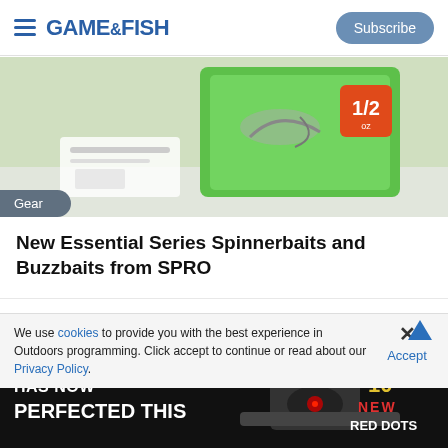GAME&FISH | Subscribe
[Figure (photo): Green fishing bait package with orange 1/2 oz label on store display]
Gear
New Essential Series Spinnerbaits and Buzzbaits from SPRO
[Figure (screenshot): Gray card/advertisement placeholder area]
We use cookies to provide you with the best experience in Outdoors programming. Click accept to continue or read about our Privacy Policy.
Advertisement
[Figure (photo): Advertisement banner: HAS NOW PERFECTED THIS — 10 NEW RED DOTS, showing a red dot sight on a firearm]